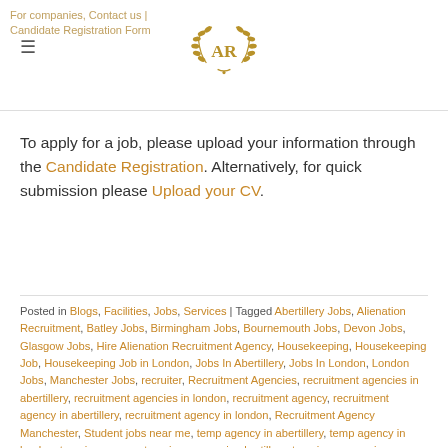For companies, Contact us | Candidate Registration Form — AR logo
To apply for a job, please upload your information through the Candidate Registration. Alternatively, for quick submission please Upload your CV.
Posted in Blogs, Facilities, Jobs, Services | Tagged Abertillery Jobs, Alienation Recruitment, Batley Jobs, Birmingham Jobs, Bournemouth Jobs, Devon Jobs, Glasgow Jobs, Hire Alienation Recruitment Agency, Housekeeping, Housekeeping Job, Housekeeping Job in London, Jobs In Abertillery, Jobs In London, London Jobs, Manchester Jobs, recruiter, Recruitment Agencies, recruitment agencies in abertillery, recruitment agencies in london, recruitment agency, recruitment agency in abertillery, recruitment agency in london, Recruitment Agency Manchester, Student jobs near me, temp agency in abertillery, temp agency in london, temping agency, temping agency in abertillery, temping agency in birmingham,